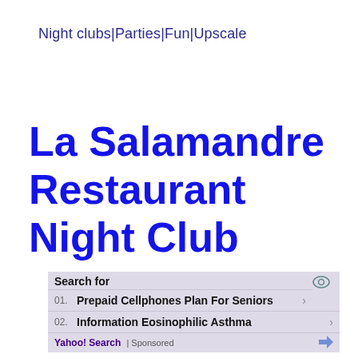Night clubs|Parties|Fun|Upscale
La Salamandre Restaurant Night Club
[Figure (screenshot): Media player overlay showing 'No compatible source was found for this media.' with a close button, video thumbnail area, and an X dismiss button. Below is a Yahoo Search sponsored results panel showing: 01. Prepaid Cellphones Plan For Seniors, 02. Information Eosinophilic Asthma, with Yahoo! Search | Sponsored footer.]